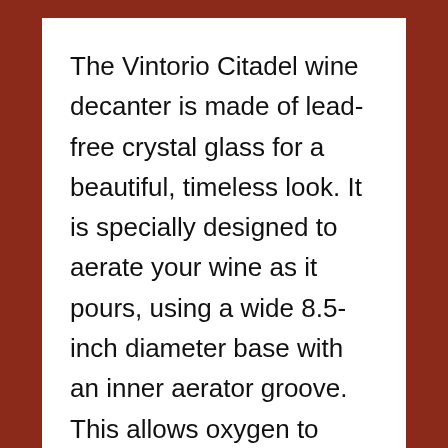The Vintorio Citadel wine decanter is made of lead-free crystal glass for a beautiful, timeless look. It is specially designed to aerate your wine as it pours, using a wide 8.5-inch diameter base with an inner aerator groove. This allows oxygen to interact with the wine, releasing its full flavor and aroma.

The decanter also has a tapered